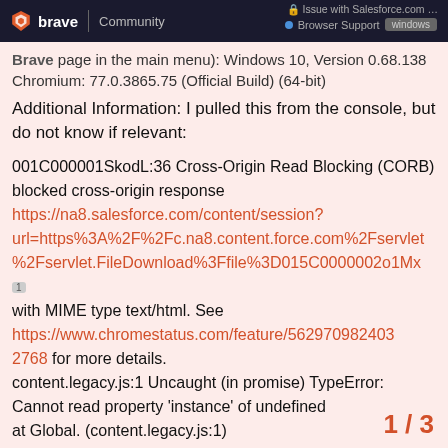brave Community | Issue with Salesforce.com ... | Browser Support | windows
Brave page in the main menu): Windows 10, Version 0.68.138 Chromium: 77.0.3865.75 (Official Build) (64-bit)
Additional Information: I pulled this from the console, but do not know if relevant:
001C000001SkodL:36 Cross-Origin Read Blocking (CORB) blocked cross-origin response https://na8.salesforce.com/content/session?url=https%3A%2F%2Fc.na8.content.force.com%2Fservlet%2Fservlet.FileDownload%3Ffile%3D015C0000002o1Mx with MIME type text/html. See https://www.chromestatus.com/feature/5629709824032768 for more details.
content.legacy.js:1 Uncaught (in promise) TypeError: Cannot read property 'instance' of undefined
at Global. (content.legacy.js:1)
at tryCatch (content.legacy.js:67)
at Generator._invoke (content.legacy.js:...)
at Generator.e.[as next] (content.leg...
1 / 3